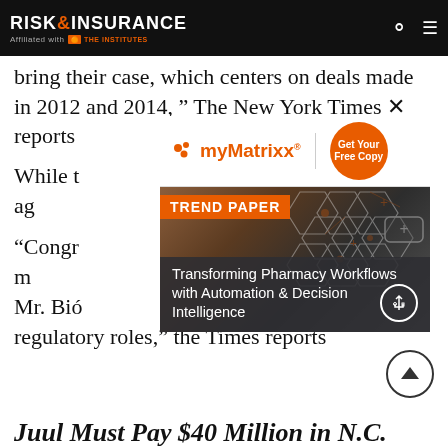RISK & INSURANCE | Affiliated with THE INSTITUTES
bring their case, which centers on deals made in 2012 and 2014," The New York Times reports
[Figure (advertisement): myMatrixx advertisement with orange circle 'Get Your Free Copy' button, and a Trend Paper overlay titled 'Transforming Pharmacy Workflows with Automation & Decision Intelligence' over a hexagonal tech background image]
While t... d, the fight ag... ues.
"Congr... tates have m... on, Apple,... rity. Mr. Bio... technology giants in key regulatory roles," the Times reports
Juul Must Pay $40 Million in N.C.